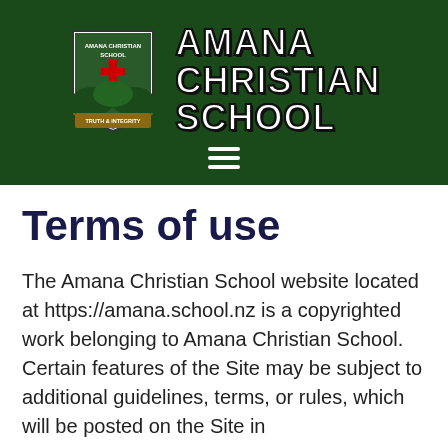[Figure (logo): Amana Christian School shield logo with red cross, green hills, and 'Truth & Integrity' banner, alongside the school name 'AMANA CHRISTIAN SCHOOL' in bold white text with dark outline on dark green background, with hamburger menu icon below]
Terms of use
The Amana Christian School website located at https://amana.school.nz is a copyrighted work belonging to Amana Christian School. Certain features of the Site may be subject to additional guidelines, terms, or rules, which will be posted on the Site in